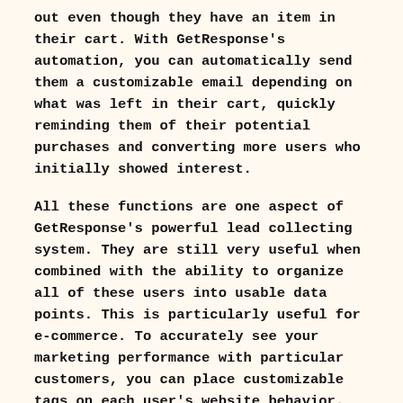out even though they have an item in their cart. With GetResponse's automation, you can automatically send them a customizable email depending on what was left in their cart, quickly reminding them of their potential purchases and converting more users who initially showed interest.
All these functions are one aspect of GetResponse's powerful lead collecting system. They are still very useful when combined with the ability to organize all of these users into usable data points. This is particularly useful for e-commerce. To accurately see your marketing performance with particular customers, you can place customizable tags on each user's website behavior.
GetResponse allows you to create conversion channels. This marketing technique targets users at specific points of their purchase timeline. This means you can